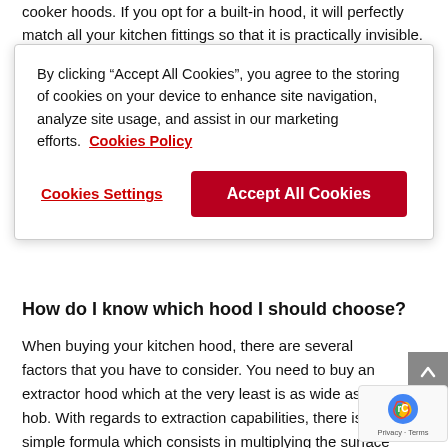cooker hoods. If you opt for a built-in hood, it will perfectly match all your kitchen fittings so that it is practically invisible.
By clicking “Accept All Cookies”, you agree to the storing of cookies on your device to enhance site navigation, analyze site usage, and assist in our marketing efforts.  Cookies Policy
Cookies Settings
Accept All Cookies
How do I know which hood I should choose?
When buying your kitchen hood, there are several factors that you have to consider. You need to buy an extractor hood which at the very least is as wide as your hob. With regards to extraction capabilities, there is a simple formula which consists in multiplying the surface area of your kitchen (m2) by the height of your kitchen in order to calculate its volume (m... Once you have this number, you multiply it by 12 and the product